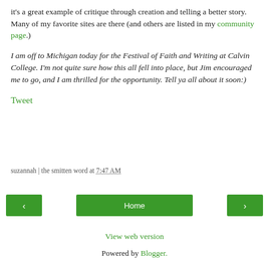it's a great example of critique through creation and telling a better story. Many of my favorite sites are there (and others are listed in my community page.)
I am off to Michigan today for the Festival of Faith and Writing at Calvin College.  I'm not quite sure how this all fell into place, but Jim encouraged me to go, and I am thrilled for the opportunity.  Tell ya all about it soon:)
Tweet
suzannah | the smitten word at 7:47 AM
< Home >
View web version
Powered by Blogger.